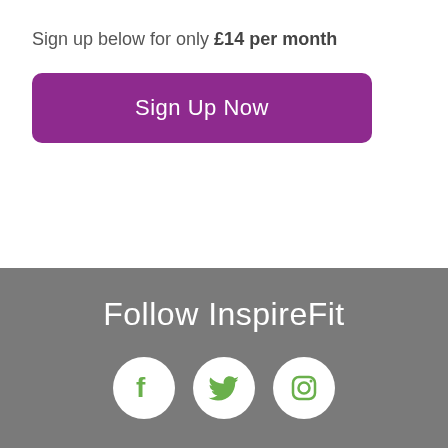Sign up below for only £14 per month
[Figure (other): Purple rounded rectangle button with white text 'Sign Up Now']
Follow InspireFit
[Figure (infographic): Three white circles on grey background containing green Facebook, Twitter, and Instagram icons]